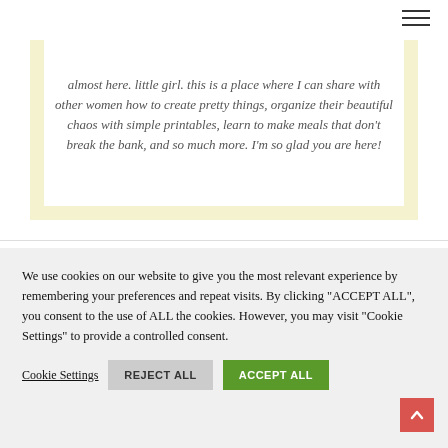[hamburger menu icon]
[Figure (other): Light yellow card with white inner border containing italic quote text: 'almost here. little girl. this is a place where I can share with other women how to create pretty things, organize their beautiful chaos with simple printables, learn to make meals that don't break the bank, and so much more. I'm so glad you are here!']
We use cookies on our website to give you the most relevant experience by remembering your preferences and repeat visits. By clicking "ACCEPT ALL", you consent to the use of ALL the cookies. However, you may visit "Cookie Settings" to provide a controlled consent.